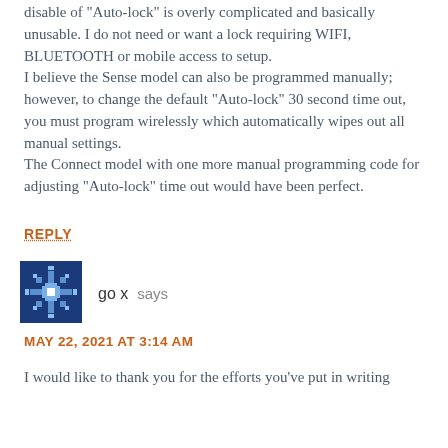disable of "Auto-lock" is overly complicated and basically unusable. I do not need or want a lock requiring WIFI, BLUETOOTH or mobile access to setup.
I believe the Sense model can also be programmed manually; however, to change the default "Auto-lock" 30 second time out, you must program wirelessly which automatically wipes out all manual settings.
The Connect model with one more manual programming code for adjusting "Auto-lock" time out would have been perfect.
REPLY
[Figure (illustration): Avatar icon for user 'go x' — blue pixelated snowflake/star pattern on dark blue background]
go x  says
MAY 22, 2021 AT 3:14 AM
I would like to thank you for the efforts you've put in writing